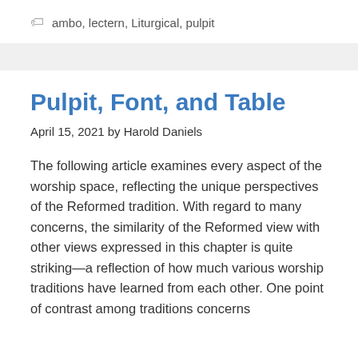ambo, lectern, Liturgical, pulpit
Pulpit, Font, and Table
April 15, 2021 by Harold Daniels
The following article examines every aspect of the worship space, reflecting the unique perspectives of the Reformed tradition. With regard to many concerns, the similarity of the Reformed view with other views expressed in this chapter is quite striking—a reflection of how much various worship traditions have learned from each other. One point of contrast among traditions concerns